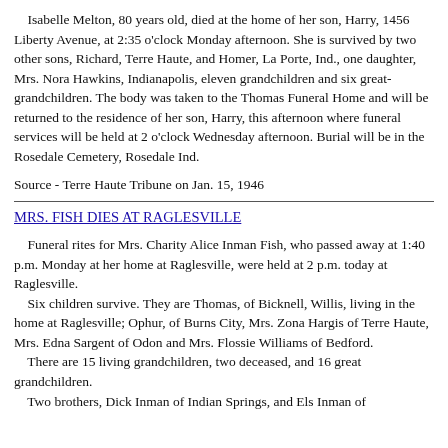Isabelle Melton, 80 years old, died at the home of her son, Harry, 1456 Liberty Avenue, at 2:35 o'clock Monday afternoon. She is survived by two other sons, Richard, Terre Haute, and Homer, La Porte, Ind., one daughter, Mrs. Nora Hawkins, Indianapolis, eleven grandchildren and six great-grandchildren. The body was taken to the Thomas Funeral Home and will be returned to the residence of her son, Harry, this afternoon where funeral services will be held at 2 o'clock Wednesday afternoon. Burial will be in the Rosedale Cemetery, Rosedale Ind.
Source - Terre Haute Tribune on Jan. 15, 1946
MRS. FISH DIES AT RAGLESVILLE
Funeral rites for Mrs. Charity Alice Inman Fish, who passed away at 1:40 p.m. Monday at her home at Raglesville, were held at 2 p.m. today at Raglesville. Six children survive. They are Thomas, of Bicknell, Willis, living in the home at Raglesville; Ophur, of Burns City, Mrs. Zona Hargis of Terre Haute, Mrs. Edna Sargent of Odon and Mrs. Flossie Williams of Bedford. There are 15 living grandchildren, two deceased, and 16 great grandchildren. Two brothers, Dick Inman of Indian Springs, and Els Inman of...